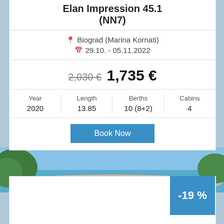Elan Impression 45.1 (NN7)
Biograd (Marina Kornati)
29.10. - 05.11.2022
2,030 € 1,735 €
| Year | Length | Berths | Cabins |
| --- | --- | --- | --- |
| 2020 | 13.85 | 10 (8+2) | 4 |
Book Now
[Figure (photo): Scenic coastal view with rocky shoreline, turquoise sea, and green trees under blue sky]
-19 %